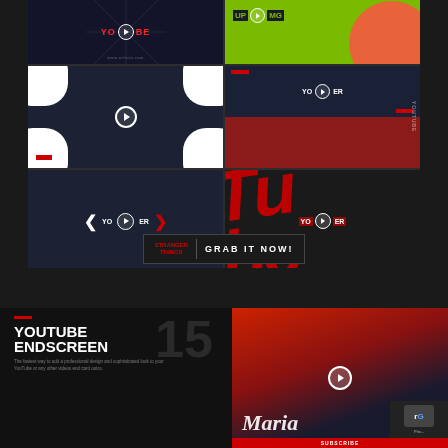[Figure (screenshot): A 2x2 grid of YouTube end screen template previews on a dark background. Top-left: dark background with red YOUTUBE text and play button. Top-right: green background with coral circle and UPCOMING text. Middle-left: dark with white blob corner shapes and play button. Middle-right: dark split panel with YOUTUBER text and red elements. Bottom-left: dark with arrow chevrons and YOUTUBER text. Bottom-right: bold red large letterforms background with YOUTUBER overlay. A red GRAB IT NOW! call-to-action button below.]
[Figure (screenshot): Bottom product banner showing YOUTUBE ENDSCREEN 15 product with large number 15, red dashes, product description text, and a video preview showing a woman named Maria with SUBSCRIBE bar.]